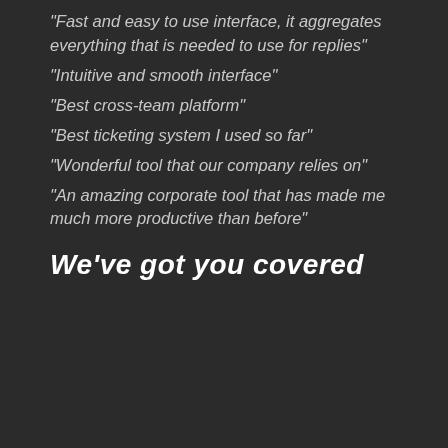"Fast and easy to use interface, it aggregates everything that is needed to use for replies"
"Intuitive and smooth interface"
"Best cross-team platform"
"Best ticketing system I used so far"
"Wonderful tool that our company relies on"
"An amazing corporate tool that has made me much more productive than before"
We've got you covered